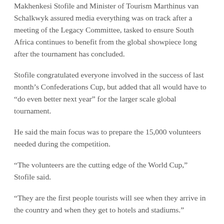Makhenkesi Stofile and Minister of Tourism Marthinus van Schalkwyk assured media everything was on track after a meeting of the Legacy Committee, tasked to ensure South Africa continues to benefit from the global showpiece long after the tournament has concluded.
Stofile congratulated everyone involved in the success of last month’s Confederations Cup, but added that all would have to “do even better next year” for the larger scale global tournament.
He said the main focus was to prepare the 15,000 volunteers needed during the competition.
“The volunteers are the cutting edge of the World Cup,” Stofile said.
“They are the first people tourists will see when they arrive in the country and when they get to hotels and stadiums.”